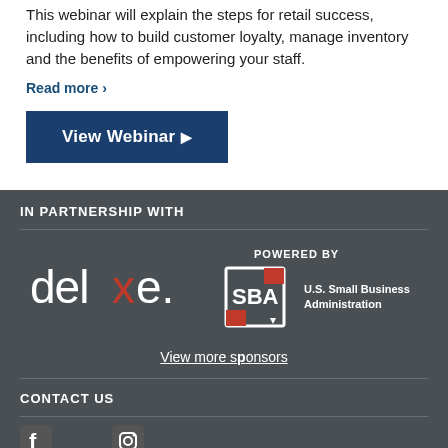This webinar will explain the steps for retail success, including how to build customer loyalty, manage inventory and the benefits of empowering your staff.
Read more >
View Webinar ▶
IN PARTNERSHIP WITH
[Figure (logo): deluxe. logo in white text with red x]
[Figure (logo): POWERED BY SBA U.S. Small Business Administration logo]
View more sponsors
CONTACT US
[Figure (illustration): Social media icons row (Facebook, Instagram)]